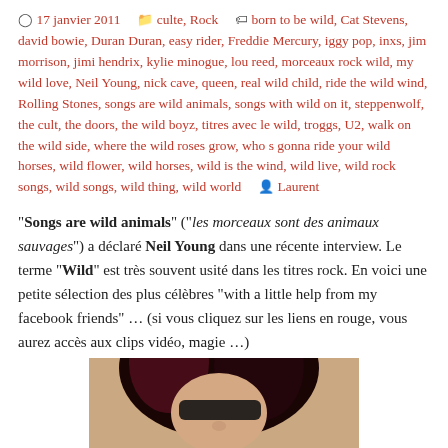17 janvier 2011   culte, Rock   born to be wild, Cat Stevens, david bowie, Duran Duran, easy rider, Freddie Mercury, iggy pop, inxs, jim morrison, jimi hendrix, kylie minogue, lou reed, morceaux rock wild, my wild love, Neil Young, nick cave, queen, real wild child, ride the wild wind, Rolling Stones, songs are wild animals, songs with wild on it, steppenwolf, the cult, the doors, the wild boyz, titres avec le wild, troggs, U2, walk on the wild side, where the wild roses grow, who s gonna ride your wild horses, wild flower, wild horses, wild is the wind, wild live, wild rock songs, wild songs, wild thing, wild world   Laurent
"Songs are wild animals" ("les morceaux sont des animaux sauvages") a déclaré Neil Young dans une récente interview. Le terme "Wild" est très souvent usité dans les titres rock. En voici une petite sélection des plus célèbres "with a little help from my facebook friends" … (si vous cliquez sur les liens en rouge, vous aurez accès aux clips vidéo, magie …)
[Figure (photo): Bottom portion of a person with long dark reddish-black hair and sunglasses, shown from neck up, against a light background.]